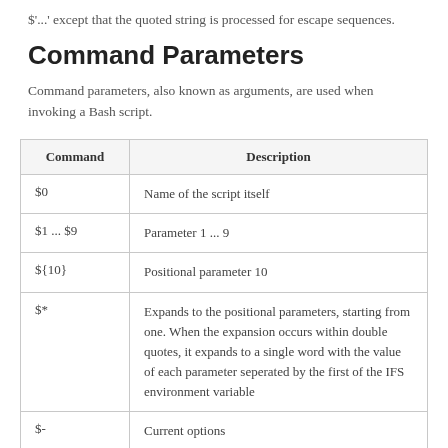$'...' except that the quoted string is processed for escape sequences.
Command Parameters
Command parameters, also known as arguments, are used when invoking a Bash script.
| Command | Description |
| --- | --- |
| $0 | Name of the script itself |
| $1 ... $9 | Parameter 1 ... 9 |
| ${10} | Positional parameter 10 |
| $* | Expands to the positional parameters, starting from one. When the expansion occurs within double quotes, it expands to a single word with the value of each parameter seperated by the first of the IFS environment variable |
| $- | Current options |